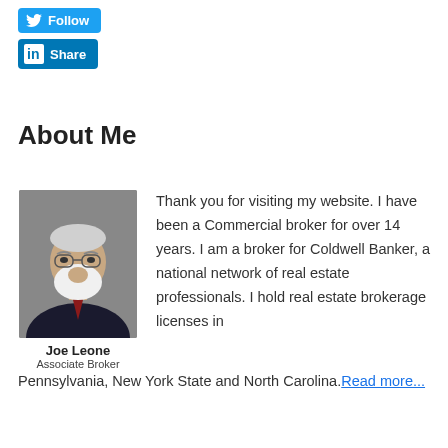[Figure (screenshot): Twitter Follow button — blue rounded rectangle with bird icon and 'Follow' text]
[Figure (screenshot): LinkedIn Share button — blue rounded rectangle with 'in' icon and 'Share' text]
About Me
[Figure (photo): Portrait photo of Joe Leone, an older man with a white beard, glasses, wearing a dark suit with a red tie, against a grey background]
Joe Leone
Associate Broker
Thank you for visiting my website. I have been a Commercial broker for over 14 years. I am a broker for Coldwell Banker, a national network of real estate professionals. I hold real estate brokerage licenses in Pennsylvania, New York State and North Carolina. Read more...